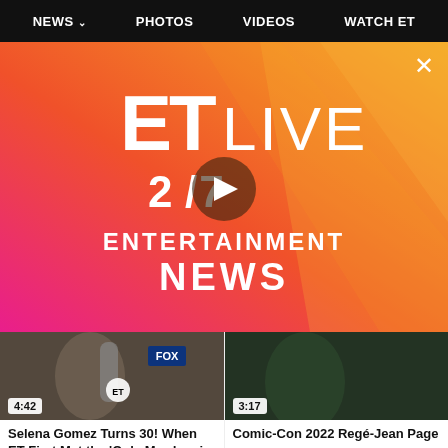NEWS ∨   PHOTOS   VIDEOS   WATCH ET
[Figure (screenshot): ET Live 24/7 Entertainment News video banner with pink-to-orange gradient background, ET LIVE logo, play button, and text '24/7 ENTERTAINMENT NEWS'. Close (X) button top right.]
[Figure (photo): Video thumbnail showing Selena Gomez with FOX microphone, duration 4:42]
Selena Gomez Turns 30! When ET First Met the 'Only Murders in the Building...
1H AGO
[Figure (photo): Video thumbnail showing Comic-Con 2022 Regé-Jean Page, duration 3:17]
Comic-Con 2022 Regé-Jean Page
3H AGO